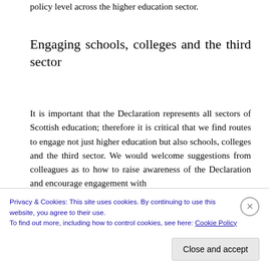policy level across the higher education sector.
Engaging schools, colleges and the third sector
It is important that the Declaration represents all sectors of Scottish education; therefore it is critical that we find routes to engage not just higher education but also schools, colleges and the third sector. We would welcome suggestions from colleagues as to how to raise awareness of the Declaration and encourage engagement with
Privacy & Cookies: This site uses cookies. By continuing to use this website, you agree to their use.
To find out more, including how to control cookies, see here: Cookie Policy